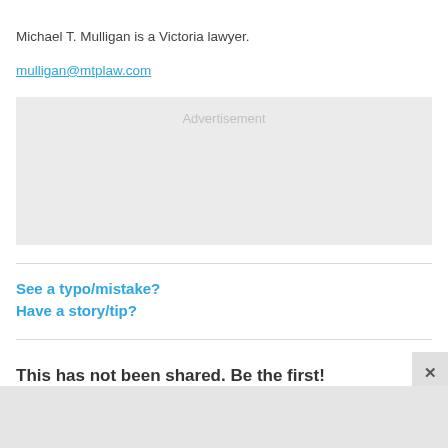Michael T. Mulligan is a Victoria lawyer.
mulligan@mtplaw.com
[Figure (other): Advertisement placeholder box with light gray background and 'Advertisement' label text]
See a typo/mistake?
Have a story/tip?
This has not been shared. Be the first!